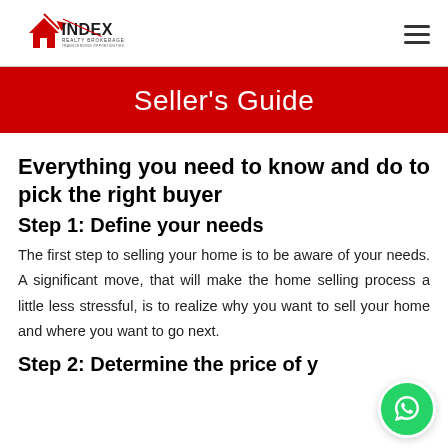INDEX REALTY BROKERAGE
Seller's Guide
Everything you need to know and do to pick the right buyer
Step 1: Define your needs
The first step to selling your home is to be aware of your needs. A significant move, that will make the home selling process a little less stressful, is to realize why you want to sell your home and where you want to go next.
Step 2: Determine the price of your